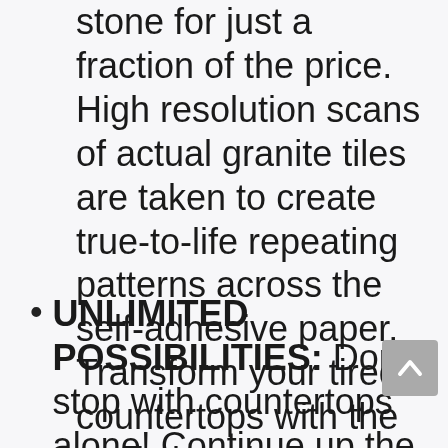stone for just a fraction of the price. High resolution scans of actual granite tiles are taken to create true-to-life repeating patterns across the self-adhesive paper. Transform your tired countertops with the realistic colors, designs, and richness of granite.
UNLIMITED POSSIBILITIES: Don't stop with countertops alone! Continue up the backsplash, cover a table, line shelves...practically any flat, non-porous surface and wall. These vinyl sheets are ideal for refinishing counters in the